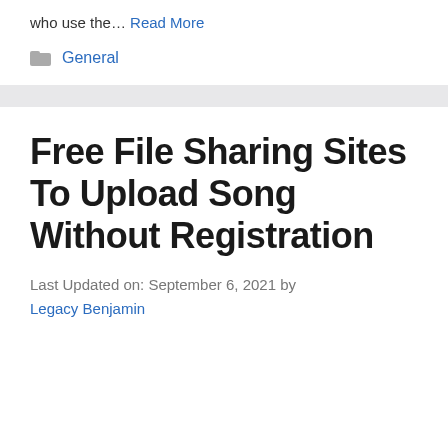who use the… Read More
General
Free File Sharing Sites To Upload Song Without Registration
Last Updated on: September 6, 2021 by Legacy Benjamin